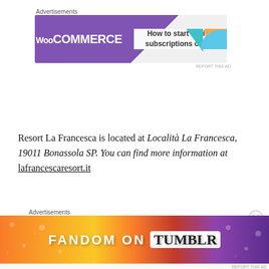[Figure (screenshot): WooCommerce advertisement banner: purple arrow logo on left, text 'How to start selling subscriptions online' on right with colorful decorative shapes]
Resort La Francesca is located at Località La Francesca, 19011 Bonassola SP. You can find more information at lafrancescaresort.it
[Figure (screenshot): Fandom on Tumblr advertisement banner with colorful gradient background (orange to purple) and bold white text 'FANDOM ON tumblr']